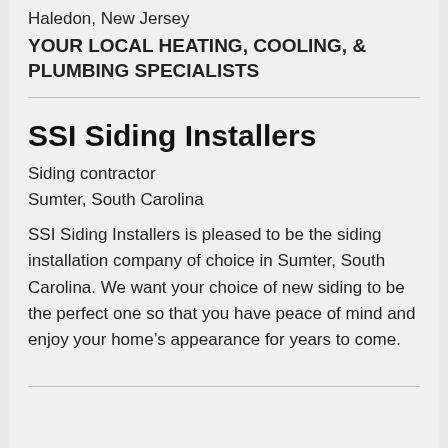Haledon, New Jersey
YOUR LOCAL HEATING, COOLING, & PLUMBING SPECIALISTS
SSI Siding Installers
Siding contractor
Sumter, South Carolina
SSI Siding Installers is pleased to be the siding installation company of choice in Sumter, South Carolina. We want your choice of new siding to be the perfect one so that you have peace of mind and enjoy your home's appearance for years to come.